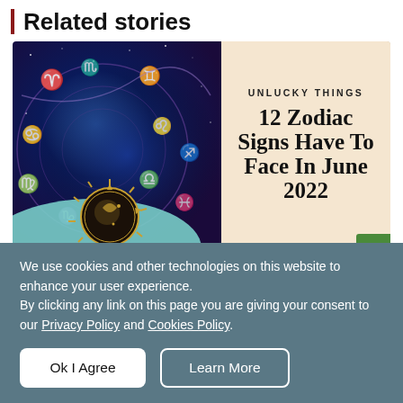Related stories
[Figure (illustration): Article thumbnail image showing zodiac wheel with astrological symbols on a dark blue/purple galaxy background on the left, and text on a beige background on the right reading 'UNLUCKY THINGS' and '12 Zodiac Signs Have To Face In June 2022']
We use cookies and other technologies on this website to enhance your user experience.
By clicking any link on this page you are giving your consent to our Privacy Policy and Cookies Policy.
Ok I Agree
Learn More